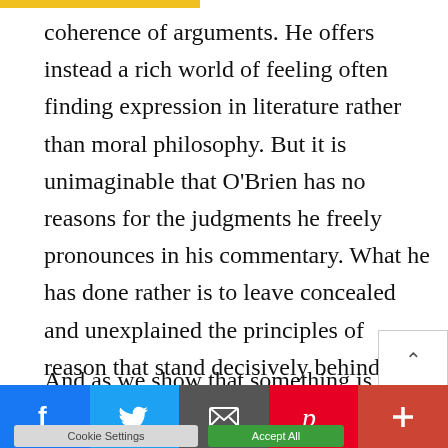coherence of arguments. He offers instead a rich world of feeling often finding expression in literature rather than moral philosophy. But it is unimaginable that O'Brien has no reasons for the judgments he freely pronounces in his commentary. What he has done rather is to leave concealed and unexplained the principles of reason that stand decisively behind his judgments. And as we show that something is bad, he says...
We use cookies on our website to give you the most relevant experience by remembering your preferences and repeat visits. By clicking "Accept All", you consent to the use of ALL the cookies. However, you may visit "Cookie Settings" to provide a controlled consent.